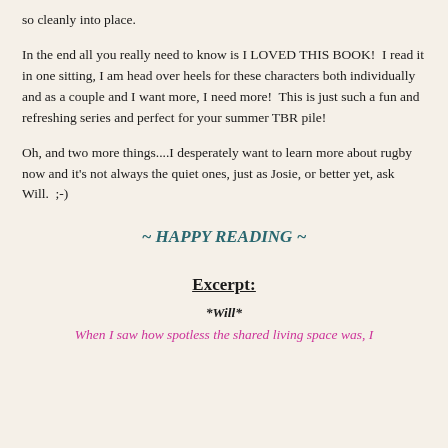so cleanly into place.
In the end all you really need to know is I LOVED THIS BOOK!  I read it in one sitting, I am head over heels for these characters both individually and as a couple and I want more, I need more!  This is just such a fun and refreshing series and perfect for your summer TBR pile!
Oh, and two more things....I desperately want to learn more about rugby now and it's not always the quiet ones, just as Josie, or better yet, ask Will.  ;-)
~ HAPPY READING ~
Excerpt:
*Will*
When I saw how spotless the shared living space was, I